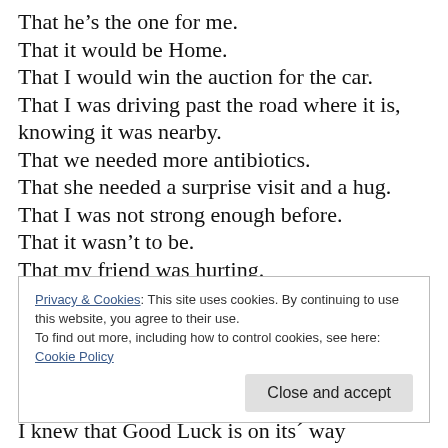That he's the one for me.
That it would be Home.
That I would win the auction for the car.
That I was driving past the road where it is, knowing it was nearby.
That we needed more antibiotics.
That she needed a surprise visit and a hug.
That I was not strong enough before.
That it wasn't to be.
That my friend was hurting.
That my lover was ill.
That I am stronger that I thought.
That I am a good person.
Privacy & Cookies: This site uses cookies. By continuing to use this website, you agree to their use.
To find out more, including how to control cookies, see here: Cookie Policy
Close and accept
I knew that Good Luck is on its´ way